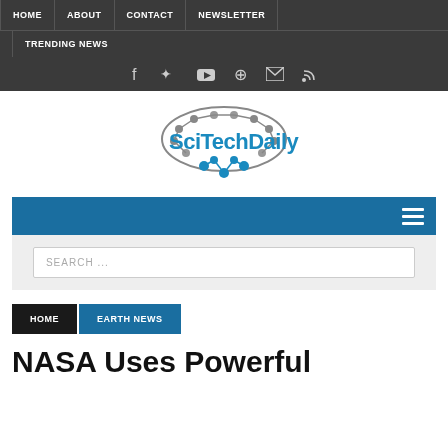HOME | ABOUT | CONTACT | NEWSLETTER | TRENDING NEWS
[Figure (logo): SciTechDaily logo with brain/circuit graphic and blue text]
Navigation menu bar with hamburger icon
SEARCH ...
HOME > EARTH NEWS
NASA Uses Powerful